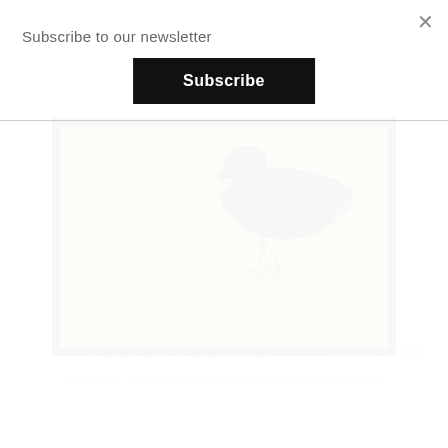Subscribe to our newsletter
Subscribe
[Figure (photo): Framed artwork showing a black grouse bird on a golden/yellow textured background, partially visible with dark frame]
STEVEN PORWOL
WWW.STEVEN-PORWOL.COM
MAIL@STEVEN-PORWOL.COM
BLACK GROUSE  75 x 60CM (FRAMED) 62 x 50CM (IMAGE)  WATERCOLOUR ON ARCHES PAPER